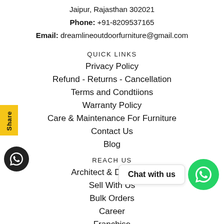Jaipur, Rajasthan 302021
Phone: +91-8209537165
Email: dreamlineoutdoorfurniture@gmail.com
QUICK LINKS
Privacy Policy
Refund - Returns - Cancellation
Terms and Condtiions
Warranty Policy
Care & Maintenance For Furniture
Contact Us
Blog
REACH US
Architect & Designers
Sell With Us
Bulk Orders
Career
Franchise
A message from the CEO